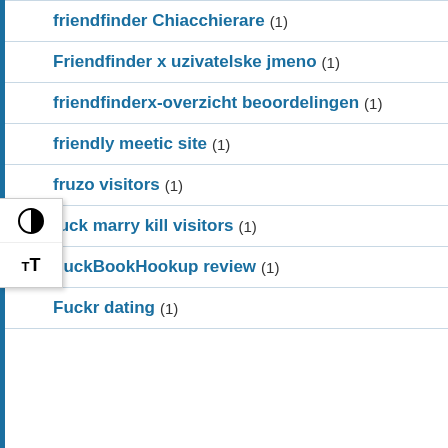friendfinder Chiacchierare (1)
Friendfinder x uzivatelske jmeno (1)
friendfinderx-overzicht beoordelingen (1)
friendly meetic site (1)
fruzo visitors (1)
fuck marry kill visitors (1)
FuckBookHookup review (1)
Fuckr dating (1)